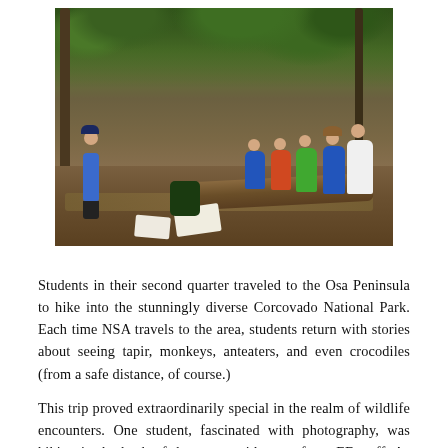[Figure (photo): Group of students sitting on a fallen log in a lush jungle/forest setting, listening to an instructor standing to the left. The setting appears to be Corcovado National Park in Costa Rica. Students are writing/taking notes outdoors.]
Students in their second quarter traveled to the Osa Peninsula to hike into the stunningly diverse Corcovado National Park. Each time NSA travels to the area, students return with stories about seeing tapir, monkeys, anteaters, and even crocodiles (from a safe distance, of course.)
This trip proved extraordinarily special in the realm of wildlife encounters. One student, fascinated with photography, was hiking in the back of the group with one of our EE staff. As they